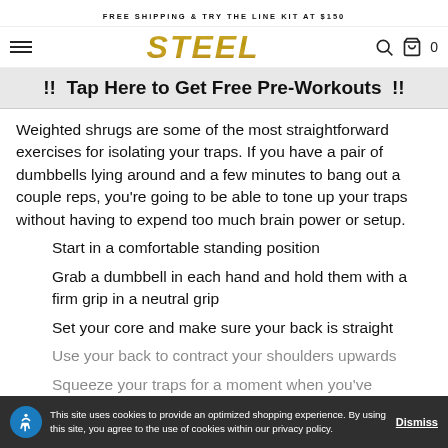FREE SHIPPING & TRY THE LINE KIT AT $150
[Figure (logo): STEEL brand logo in gold italic bold font, with hamburger menu icon on left and search/cart icons on right]
!! Tap Here to Get Free Pre-Workouts !!
Weighted shrugs are some of the most straightforward exercises for isolating your traps. If you have a pair of dumbbells lying around and a few minutes to bang out a couple reps, you’re going to be able to tone up your traps without having to expend too much brain power or setup.
Start in a comfortable standing position
Grab a dumbbell in each hand and hold them with a firm grip in a neutral grip
Set your core and make sure your back is straight
Use your back to contract your shoulders upwards
Squeeze your traps for a moment when you’ve
This site uses cookies to provide an optimized shopping experience. By using this site, you agree to the use of cookies within our privacy policy.    Dismiss